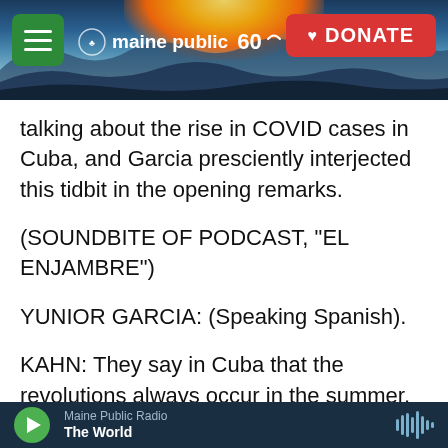[Figure (screenshot): Maine Public radio website header with a sunrise landscape banner. Green hamburger menu button on left, Maine Public 60 logo in center, red DONATE button on right.]
talking about the rise in COVID cases in Cuba, and Garcia presciently interjected this tidbit in the opening remarks.
(SOUNDBITE OF PODCAST, "EL ENJAMBRE")
YUNIOR GARCIA: (Speaking Spanish).
KAHN: They say in Cuba that the revolutions always occur in the summer, he said. The next day, Garcia was on the streets following the protests on social media. Many Cubans, angry about everything from rising prices, food shortages, long lines and lack of freedoms, were posting videos in
Maine Public Radio
The World